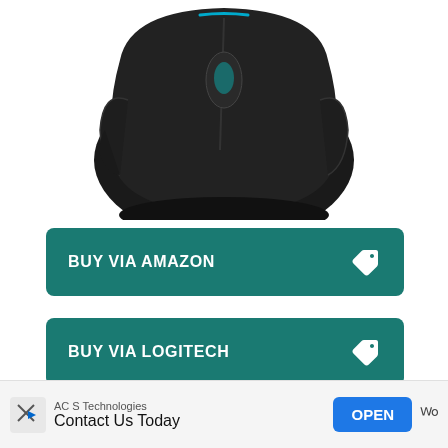[Figure (photo): Partial top view of a black gaming mouse (Logitech) with a teal accent, shown from above on a white background. Only the lower portion of the mouse is visible.]
BUY VIA AMAZON
BUY VIA LOGITECH
For any competitive game that uses keyboard-and-mouse controls, a responsive mouse is one of the most important things to have. And if that
AC S Technologies
Contact Us Today
OPEN